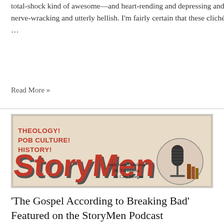total-shock kind of awesome—and heart-rending and depressing and nerve-wracking and utterly hellish. I'm fairly certain that these cliché …
Read More »
[Figure (illustration): StoryMen podcast banner with retro styling. Text reads 'THEOLOGY! POP CULTURE! HISTORY! STORYMEN with Matt Mikalatos, JR. Forasteros & Clay Morgan'. Features an illustrated vintage microphone on the right side.]
'The Gospel According to Breaking Bad' Featured on the StoryMen Podcast